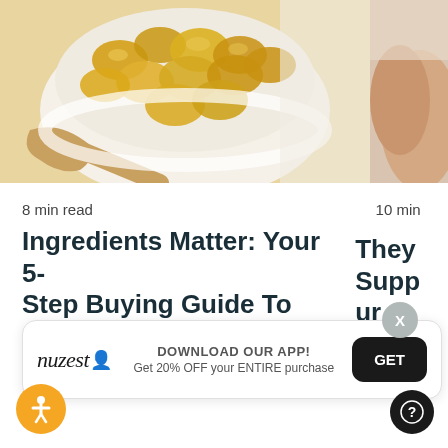[Figure (photo): Bowl of golden gel capsules/fish oil supplements with wooden spoon, cropped at top-left]
[Figure (photo): Partial photo of a person's hand/wrist, cropped at right edge]
8 min read
10 min
Ingredients Matter: Your 5-Step Buying Guide To
They Supp ur
[Figure (infographic): Nuzest app download banner: DOWNLOAD OUR APP! Get 20% OFF your ENTIRE purchase. GET button. Nuzest logo.]
[Figure (other): Orange accessibility icon button (wheelchair symbol) at bottom left]
[Figure (other): Dark circular help/info button at bottom right]